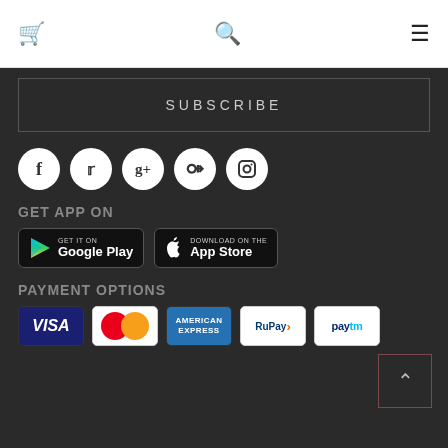Cart | Search | Menu
SUBSCRIBE
[Figure (infographic): Social media icon circles: Facebook, Twitter, Google+, Pinterest, Instagram]
GET APP ON
[Figure (infographic): Google Play and App Store download badges]
PAYMENT OPTIONS
[Figure (infographic): Payment option logos: VISA, MasterCard, American Express, RuPay, Paytm]